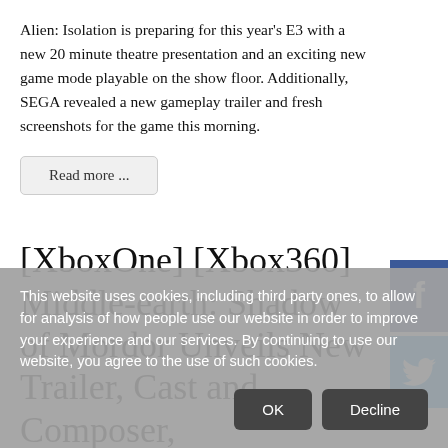Alien: Isolation is preparing for this year's E3 with a new 20 minute theatre presentation and an exciting new game mode playable on the show floor. Additionally, SEGA revealed a new gameplay trailer and fresh screenshots for the game this morning.
Read more ...
[Figure (other): Facebook social share button (blue square with white 'f' icon)]
[Figure (other): Twitter social share button (light blue square with white bird icon)]
[XboxOne] [Xbox360] Middle-earth: Shadow of Mordor Unveils New Trailer, Cast and Composer,
This website uses cookies, including third party ones, to allow for analysis of how people use our website in order to improve your experience and our services. By continuing to use our website, you agree to the use of such cookies.
OK
Decline